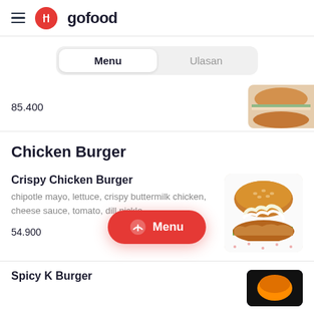gofood
Menu | Ulasan
85.400
Chicken Burger
Crispy Chicken Burger
chipotle mayo, lettuce, crispy buttermilk chicken, cheese sauce, tomato, dill pickle
54.900
[Figure (photo): Crispy chicken burger with sesame bun, lettuce, cheese sauce and crispy chicken patty]
Menu
Spicy K Burger